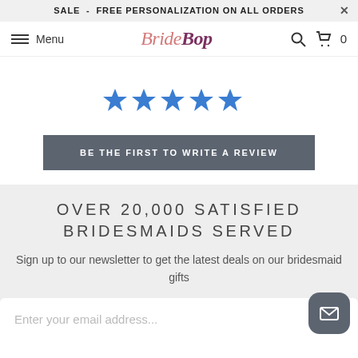SALE - FREE PERSONALIZATION ON ALL ORDERS
[Figure (logo): BrideBop logo with navigation bar including menu icon, search icon, and cart icon]
[Figure (other): Five blue star rating icons]
BE THE FIRST TO WRITE A REVIEW
OVER 20,000 SATISFIED BRIDESMAIDS SERVED
Sign up to our newsletter to get the latest deals on our bridesmaid gifts
Enter your email address...